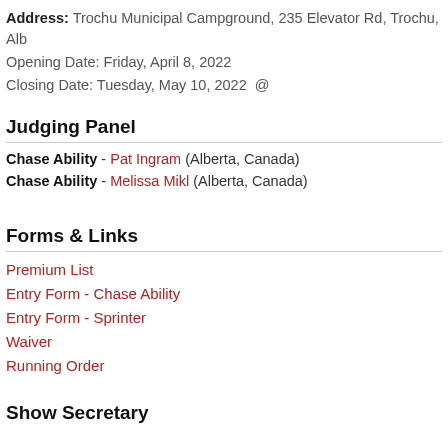Address: Trochu Municipal Campground, 235 Elevator Rd, Trochu, Alb
Opening Date: Friday, April 8, 2022
Closing Date: Tuesday, May 10, 2022  @
Judging Panel
Chase Ability - Pat Ingram (Alberta, Canada)
Chase Ability - Melissa Mikl (Alberta, Canada)
Forms & Links
Premium List
Entry Form - Chase Ability
Entry Form - Sprinter
Waiver
Running Order
Show Secretary